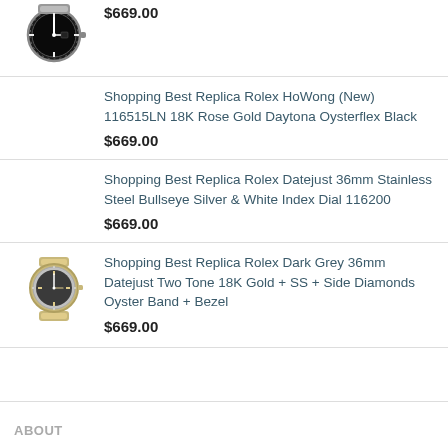[Figure (photo): Dive watch with black bezel and stainless steel bracelet]
$669.00
Shopping Best Replica Rolex HoWong (New) 116515LN 18K Rose Gold Daytona Oysterflex Black
$669.00
Shopping Best Replica Rolex Datejust 36mm Stainless Steel Bullseye Silver & White Index Dial 116200
$669.00
[Figure (photo): Ladies Rolex watch with gold and silver two-tone bracelet]
Shopping Best Replica Rolex Dark Grey 36mm Datejust Two Tone 18K Gold + SS + Side Diamonds Oyster Band + Bezel
$669.00
ABOUT